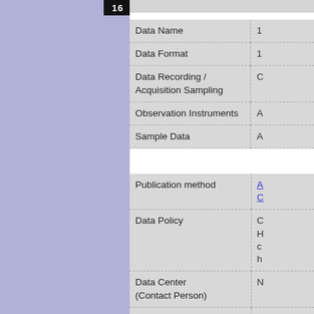[Figure (other): Logo box with text '16' on black background in top-left sidebar area]
| Field | Value |
| --- | --- |
| Data Name | 1 |
| Data Format | 1 |
| Data Recording / Acquisition Sampling | C |
| Observation Instruments | A |
| Sample Data | A |
| Field | Value |
| --- | --- |
| Publication method | A... C... |
| Data Policy | C... H... c... h... |
| Data Center (Contact Person) | N |
| E-mail | h |
| Related Organization |  |
| Scientific Results / Publication |  |